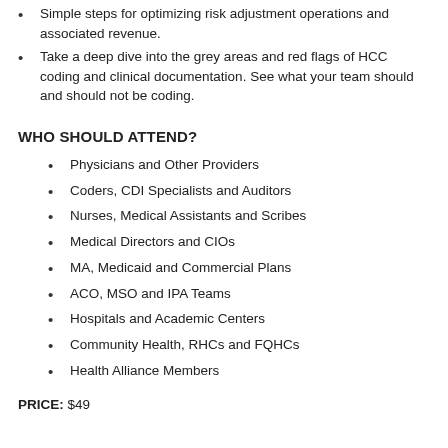Simple steps for optimizing risk adjustment operations and associated revenue.
Take a deep dive into the grey areas and red flags of HCC coding and clinical documentation. See what your team should and should not be coding.
WHO SHOULD ATTEND?
Physicians and Other Providers
Coders, CDI Specialists and Auditors
Nurses, Medical Assistants and Scribes
Medical Directors and CIOs
MA, Medicaid and Commercial Plans
ACO, MSO and IPA Teams
Hospitals and Academic Centers
Community Health, RHCs and FQHCs
Health Alliance Members
PRICE: $49